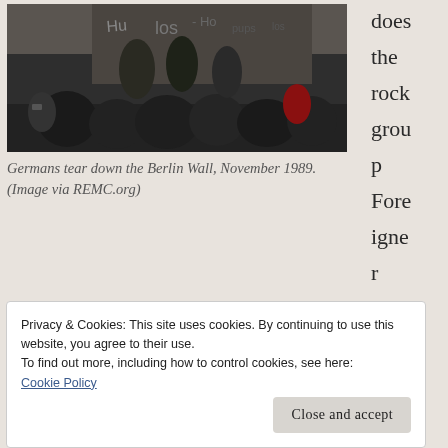[Figure (photo): Black and white photograph of Germans tearing down the Berlin Wall, November 1989. A large crowd of people surrounds the wall covered in graffiti, with people climbing on top.]
Germans tear down the Berlin Wall, November 1989. (Image via REMC.org)
does the rock grou p Fore igne r
Privacy & Cookies: This site uses cookies. By continuing to use this website, you agree to their use.
To find out more, including how to control cookies, see here: Cookie Policy
Close and accept